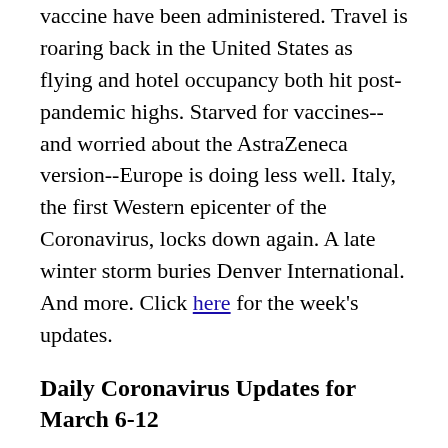vaccine have been administered. Travel is roaring back in the United States as flying and hotel occupancy both hit post-pandemic highs. Starved for vaccines--and worried about the AstraZeneca version--Europe is doing less well. Italy, the first Western epicenter of the Coronavirus, locks down again. A late winter storm buries Denver International. And more. Click here for the week's updates.
Daily Coronavirus Updates for March 6-12
Read all about it! More than 522,000 525,000 530,000 532,000 Americans have died from the virus. It's been a year since the outbreak